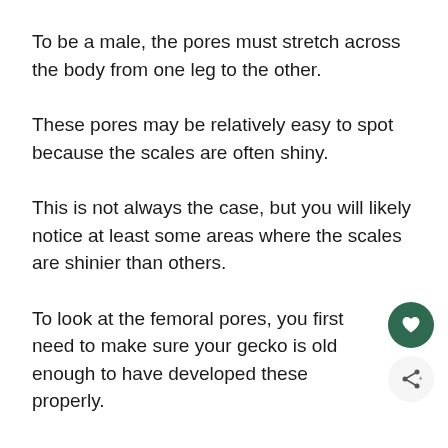To be a male, the pores must stretch across the body from one leg to the other.
These pores may be relatively easy to spot because the scales are often shiny.
This is not always the case, but you will likely notice at least some areas where the scales are shinier than others.
To look at the femoral pores, you first need to make sure your gecko is old enough to have developed these properly.
They should be between 6 and 15 grams before